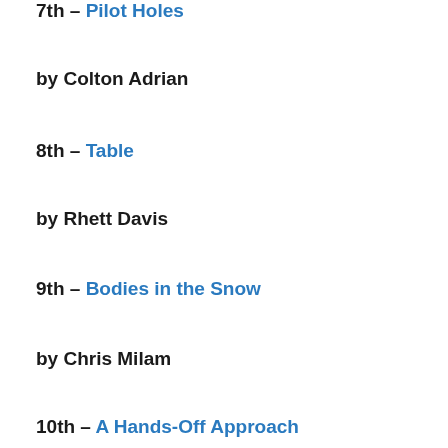7th – Pilot Holes
by Colton Adrian
8th – Table
by Rhett Davis
9th – Bodies in the Snow
by Chris Milam
10th – A Hands-Off Approach